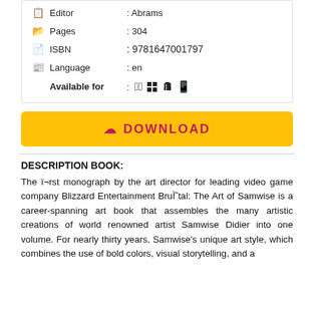| Field | Value |
| --- | --- |
| Editor | Abrams |
| Pages | 304 |
| ISBN | 9781647001797 |
| Language | en |
| Available for | [platform icons: Apple, Windows, Linux, Android] |
[Figure (other): Yellow download button with cloud/download icon and text 'DOWNLOAD' in pink/magenta color]
DESCRIPTION BOOK:
The ï¬rst monograph by the art director for leading video game company Blizzard Entertainment BruÌ˜tal: The Art of Samwise is a career-spanning art book that assembles the many artistic creations of world renowned artist Samwise Didier into one volume. For nearly thirty years, Samwise's unique art style, which combines the use of bold colors, visual storytelling, and a